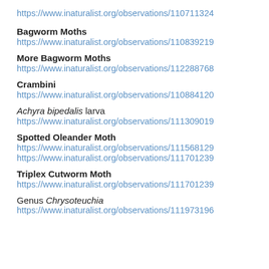https://www.inaturalist.org/observations/110711324
Bagworm Moths
https://www.inaturalist.org/observations/110839219
More Bagworm Moths
https://www.inaturalist.org/observations/112288768
Crambini
https://www.inaturalist.org/observations/110884120
Achyra bipedalis larva
https://www.inaturalist.org/observations/111309019
Spotted Oleander Moth
https://www.inaturalist.org/observations/111568129
https://www.inaturalist.org/observations/111701239
Triplex Cutworm Moth
https://www.inaturalist.org/observations/111701239
Genus Chrysoteuchia
https://www.inaturalist.org/observations/111973196